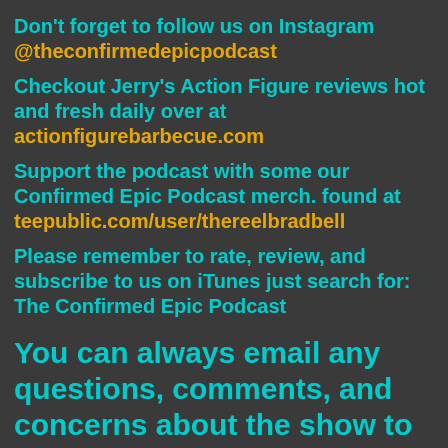Don't forget to follow us on Instagram @theconfirmedepicpodcast
Checkout Jerry's Action Figure reviews hot and fresh daily over at actionfigurebarbecue.com
Support the podcast with some our Confirmed Epic Podcast merch. found at teepublic.com/user/thereelbradbell
Please remember to rate, review, and subscribe to us on iTunes just search for: The Confirmed Epic Podcast
You can always email any questions, comments, and concerns about the show to thepicreview@gmail.com